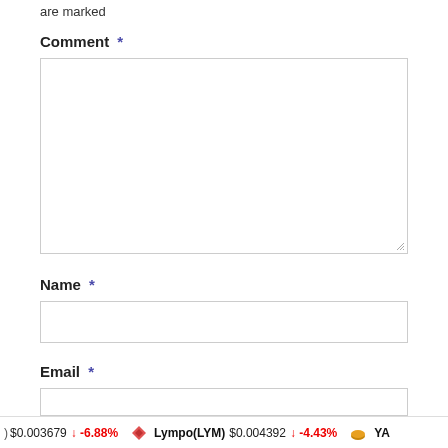are marked
Comment *
[Figure (screenshot): Empty comment textarea input field with resize handle]
Name *
[Figure (screenshot): Empty name text input field]
Email *
[Figure (screenshot): Partially visible empty email text input field]
) $0.003679 ↓ -6.88% Lympo(LYM) $0.004392 ↓ -4.43% YA